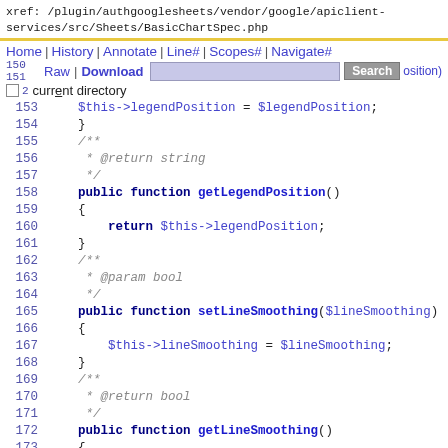xref: /plugin/authgooglesheets/vendor/google/apiclient-services/src/Sheets/BasicChartSpec.php
Home | History | Annotate | Line# | Scopes# | Navigate#
Raw | Download  [Search]  current directory
153    $this->legendPosition = $legendPosition;
154    }
155    /**
156     * @return string
157     */
158    public function getLegendPosition()
159    {
160        return $this->legendPosition;
161    }
162    /**
163     * @param bool
164     */
165    public function setLineSmoothing($lineSmoothing)
166    {
167        $this->lineSmoothing = $lineSmoothing;
168    }
169    /**
170     * @return bool
171     */
172    public function getLineSmoothing()
173    {
174        return $this->lineSmoothing;
175    }